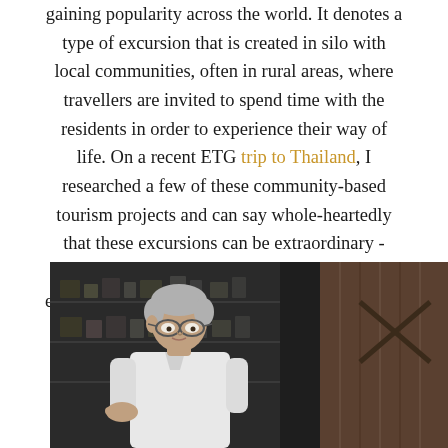gaining popularity across the world. It denotes a type of excursion that is created in silo with local communities, often in rural areas, where travellers are invited to spend time with the residents in order to experience their way of life. On a recent ETG trip to Thailand, I researched a few of these community-based tourism projects and can say whole-heartedly that these excursions can be extraordinary - enhancing both your understanding and enjoyment of the destination you visit in one go.
[Figure (photo): An elderly man with grey hair wearing a white shirt, photographed in a dark shop or workshop setting with wooden shelving and a large wooden pillar visible on the right side.]